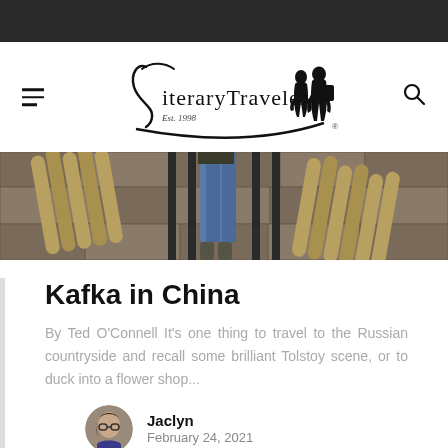Literary Traveler — Est. 1998
[Figure (photo): Hero image showing person standing between bamboo poles against a stone wall background, legs in jeans visible]
Kafka in China
By Ted O'Connell It's one thing to travel to the Russian countryside and recall some brilliant Tolstoy scene, or to duck into a flower shop...
Jaclyn
February 24, 2021